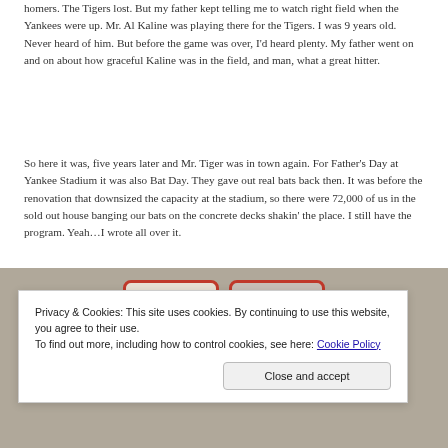homers. The Tigers lost. But my father kept telling me to watch right field when the Yankees were up. Mr. Al Kaline was playing there for the Tigers. I was 9 years old. Never heard of him. But before the game was over, I'd heard plenty. My father went on and on about how graceful Kaline was in the field, and man, what a great hitter.
So here it was, five years later and Mr. Tiger was in town again. For Father's Day at Yankee Stadium it was also Bat Day. They gave out real bats back then. It was before the renovation that downsized the capacity at the stadium, so there were 72,000 of us in the sold out house banging our bats on the concrete decks shakin' the place. I still have the program. Yeah…I wrote all over it.
[Figure (photo): Partially visible photograph of baseball cards or programs with red borders, overlaid by a cookie consent banner.]
Privacy & Cookies: This site uses cookies. By continuing to use this website, you agree to their use.
To find out more, including how to control cookies, see here: Cookie Policy
Close and accept